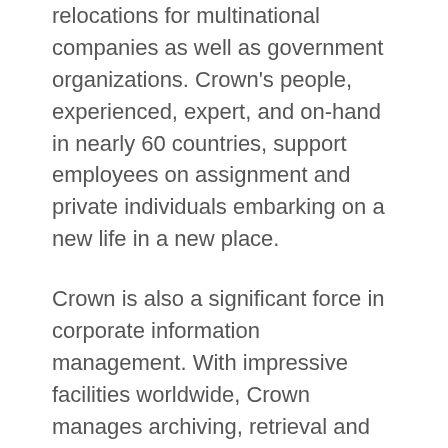relocations for multinational companies as well as government organizations. Crown's people, experienced, expert, and on-hand in nearly 60 countries, support employees on assignment and private individuals embarking on a new life in a new place.
Crown is also a significant force in corporate information management. With impressive facilities worldwide, Crown manages archiving, retrieval and secure management of information in physical and electronic format.
Our care for people and important information is matched by our delicacy in handling unique, sensitive and often